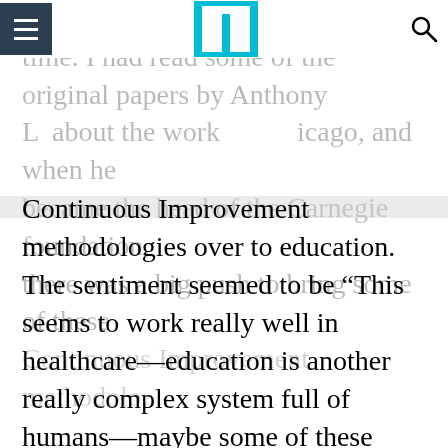[Navigation bar with hamburger menu, logo, and search icon]
continuous improvement at that time. I had read some of the original papers by Anthony [name] about the work [at] Chicago, and when he became the head of the Carnegie foundation, there was a big push to bring some of these Continuous Improvement methodologies over to education. The sentiment seemed to be “This seems to work really well in healthcare—education is another really complex system full of humans—maybe some of these methods could create some benefit for students.”
Around the same time, I read Jo Boaler’s Mathematical Mindsets, which is a book that highlights some of the issues around the way that we think about mathematics education, and